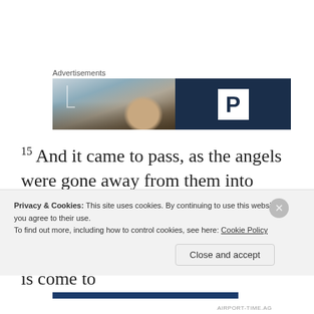Advertisements
[Figure (photo): Advertisement banner: left side shows a blurred photo of a person (bald head visible) against a glass/building backdrop; right side is dark navy blue with a white square containing a bold letter P (PowerPoint or parking logo style).]
15 And it came to pass, as the angels were gone away from them into heaven, the shepherds said one to another, Let us now go even unto Bethlehem, and see this thing which is come to
Privacy & Cookies: This site uses cookies. By continuing to use this website, you agree to their use.
To find out more, including how to control cookies, see here: Cookie Policy
Close and accept